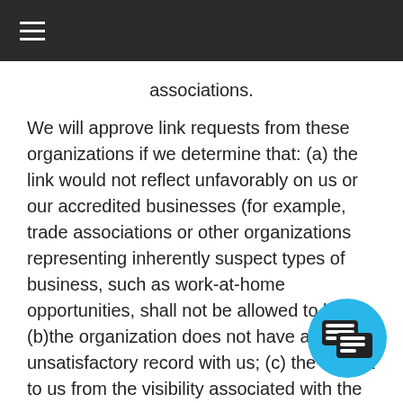associations.
We will approve link requests from these organizations if we determine that: (a) the link would not reflect unfavorably on us or our accredited businesses (for example, trade associations or other organizations representing inherently suspect types of business, such as work-at-home opportunities, shall not be allowed to link); (b)the organization does not have an unsatisfactory record with us; (c) the benefit to us from the visibility associated with the hyperlink outweighs the absence of Medina & Company Consulting and Forensic Accounting; and (d) where the link is in the context of general resource information or is otherwise consistent with editorial content in a